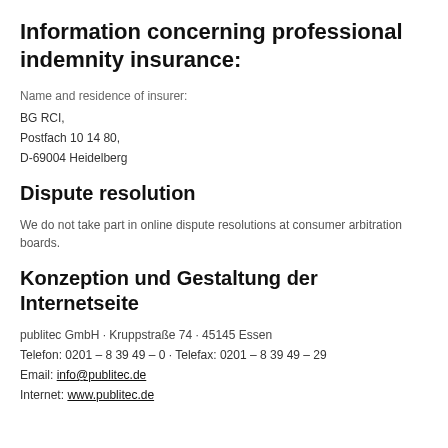Information concerning professional indemnity insurance:
Name and residence of insurer:
BG RCI,
Postfach 10 14 80,
D-69004 Heidelberg
Dispute resolution
We do not take part in online dispute resolutions at consumer arbitration boards.
Konzeption und Gestaltung der Internetseite
publitec GmbH · Kruppstraße 74 · 45145 Essen
Telefon: 0201 – 8 39 49 – 0 · Telefax: 0201 – 8 39 49 – 29
Email: info@publitec.de
Internet: www.publitec.de